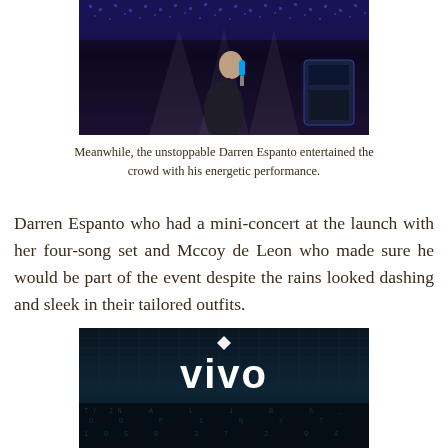[Figure (photo): Man performing on stage holding a microphone, dark background with purple/blue lighting and spotlights]
Meanwhile, the unstoppable Darren Espanto entertained the crowd with his energetic performance.
Darren Espanto who had a mini-concert at the launch with her four-song set and Mccoy de Leon who made sure he would be part of the event despite the rains looked dashing and sleek in their tailored outfits.
[Figure (photo): Vivo logo on a dark background with digital/matrix style text pattern below]